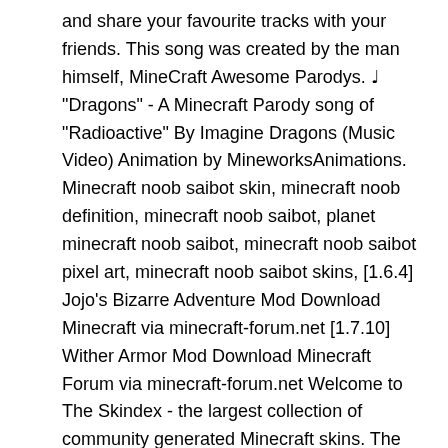and share your favourite tracks with your friends. This song was created by the man himself, MineCraft Awesome Parodys. ♩ "Dragons" - A Minecraft Parody song of "Radioactive" By Imagine Dragons (Music Video) Animation by MineworksAnimations. Minecraft noob saibot skin, minecraft noob definition, minecraft noob saibot, planet minecraft noob saibot, minecraft noob saibot pixel art, minecraft noob saibot skins, [1.6.4] Jojo's Bizarre Adventure Mod Download Minecraft via minecraft-forum.net [1.7.10] Wither Armor Mod Download Minecraft Forum via minecraft-forum.net Welcome to The Skindex - the largest collection of community generated Minecraft skins. The player shocked by Failboat's song in If Voice Chat was Added to Minecraft. 12:34. Select from a wide range of models, decals, meshes, plugins, or audio that help bring your imagination into reality. noob thỬ thÁch thoÁt khỎi sÓng thẦn kim cƯƠng cÓ thẬt cŨng noob slenderman trong